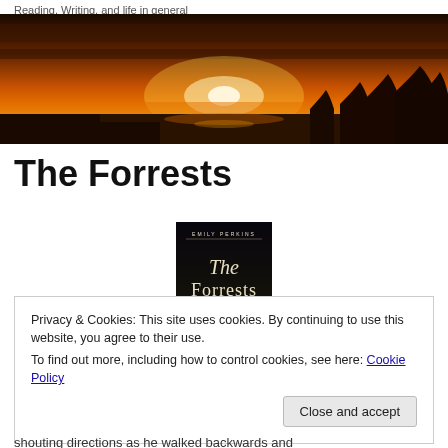Reading, Writing, and life in general
[Figure (photo): Sunset landscape photo with orange and amber sky, silhouetted trees along the horizon]
The Forrests
[Figure (photo): Book cover of 'The Forrests' by Emily Perkins, dark background with cursive title text]
Privacy & Cookies: This site uses cookies. By continuing to use this website, you agree to their use.
To find out more, including how to control cookies, see here: Cookie Policy
[Close and accept button]
shouting directions as he walked backwards and